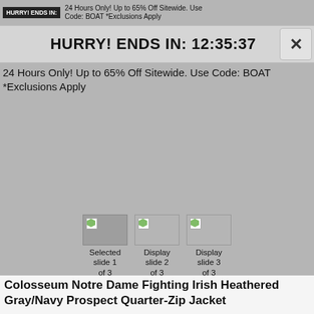HURRY! ENDS IN:
24 Hours Only! Up to 65% Off Sitewide. Use Code: BOAT *Exclusions Apply
HURRY! ENDS IN: 12:35:37
24 Hours Only! Up to 65% Off Sitewide. Use Code: BOAT *Exclusions Apply
[Figure (screenshot): Three image slide thumbnails: Selected slide 1 of 3, Display slide 2 of 3, Display slide 3 of 3]
Colosseum Notre Dame Fighting Irish Heathered Gray/Navy Prospect Quarter-Zip Jacket
In Stock - This item will ship within 1 business day.
Reduced: $32.99
Regular: $54.99